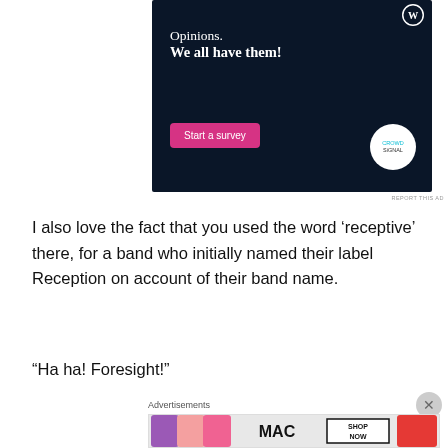[Figure (screenshot): Dark navy advertisement banner for WordPress/Crowdsignal survey tool. Text reads 'Opinions. We all have them!' with a pink 'Start a survey' button and Crowdsignal logo circle on right.]
REPORT THIS AD
I also love the fact that you used the word ‘receptive’ there, for a band who initially named their label Reception on account of their band name.
“Ha ha! Foresight!”
Advertisements
[Figure (screenshot): MAC cosmetics advertisement showing lipsticks in purple, pink, and red shades with MAC logo and 'SHOP NOW' button.]
REPORT THIS AD